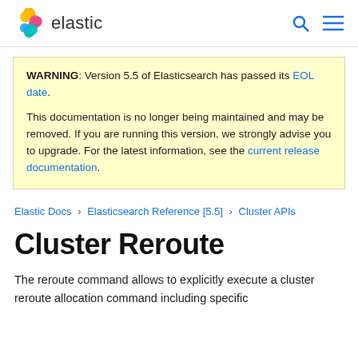elastic
WARNING: Version 5.5 of Elasticsearch has passed its EOL date.

This documentation is no longer being maintained and may be removed. If you are running this version, we strongly advise you to upgrade. For the latest information, see the current release documentation.
Elastic Docs › Elasticsearch Reference [5.5] › Cluster APIs
Cluster Reroute
The reroute command allows to explicitly execute a cluster reroute allocation command including specific